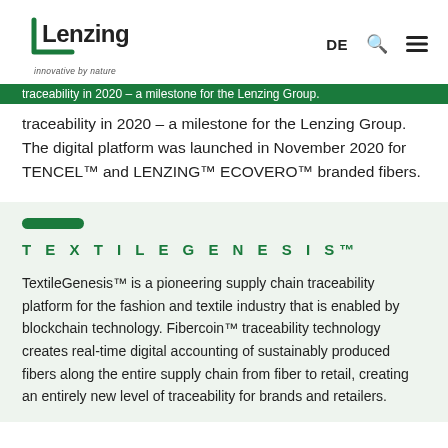Lenzing — innovative by nature | DE | Search | Menu
traceability in 2020 – a milestone for the Lenzing Group. The digital platform was launched in November 2020 for TENCEL™ and LENZING™ ECOVERO™ branded fibers.
TEXTILEGENESIS™
TextileGenesis™ is a pioneering supply chain traceability platform for the fashion and textile industry that is enabled by blockchain technology. Fibercoin™ traceability technology creates real-time digital accounting of sustainably produced fibers along the entire supply chain from fiber to retail, creating an entirely new level of traceability for brands and retailers.